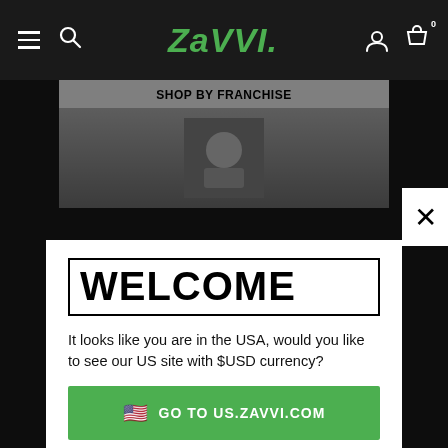[Figure (screenshot): Zavvi website navigation bar with hamburger menu, search icon, Zavvi green italic logo, user account icon, and shopping cart icon with 0 badge]
[Figure (screenshot): Zavvi website background showing SHOP BY FRANCHISE banner with an image of a character]
WELCOME
It looks like you are in the USA, would you like to see our US site with $USD currency?
🇺🇸  GO TO US.ZAVVI.COM
Non merci, je veux rester sur FR.ZAVVI.COM
TÉLÉCHARGEZ NOTRE APP POUR NE RIEN MANQUER !